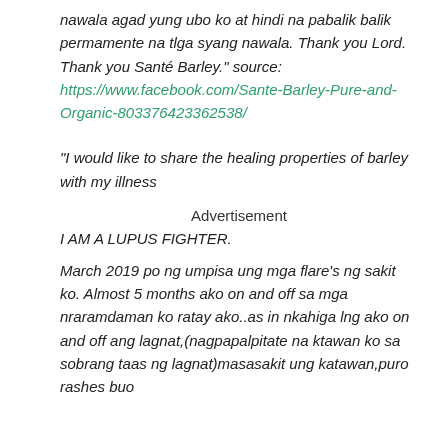nawala agad yung ubo ko at hindi na pabalik balik permamente na tlga syang nawala. Thank you Lord. Thank you Santé Barley." source: https://www.facebook.com/Sante-Barley-Pure-and-Organic-803376423362538/
"I would like to share the healing properties of barley with my illness
Advertisement
I AM A LUPUS FIGHTER.
March 2019 po ng umpisa ung mga flare's ng sakit ko. Almost 5 months ako on and off sa mga nraramdaman ko ratay ako..as in nkahiga lng ako on and off ang lagnat,(nagpapalpitate na ktawan ko sa sobrang taas ng lagnat)masasakit ung katawan,puro rashes buo